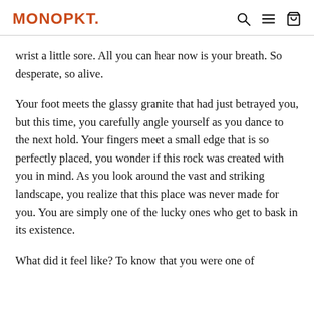MONOPKT.
wrist a little sore. All you can hear now is your breath. So desperate, so alive.
Your foot meets the glassy granite that had just betrayed you, but this time, you carefully angle yourself as you dance to the next hold. Your fingers meet a small edge that is so perfectly placed, you wonder if this rock was created with you in mind. As you look around the vast and striking landscape, you realize that this place was never made for you. You are simply one of the lucky ones who get to bask in its existence.
What did it feel like? To know that you were one of